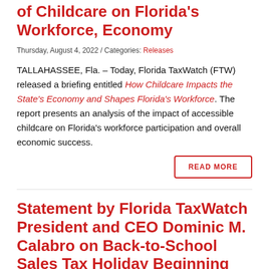of Childcare on Florida's Workforce, Economy
Thursday, August 4, 2022 / Categories: Releases
TALLAHASSEE, Fla. – Today, Florida TaxWatch (FTW) released a briefing entitled How Childcare Impacts the State's Economy and Shapes Florida's Workforce. The report presents an analysis of the impact of accessible childcare on Florida's workforce participation and overall economic success.
READ MORE
Statement by Florida TaxWatch President and CEO Dominic M. Calabro on Back-to-School Sales Tax Holiday Beginning Monday, July 25, 2022